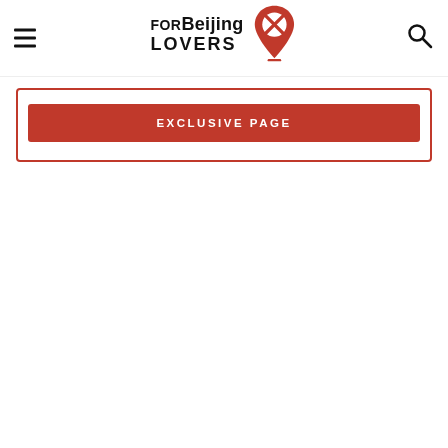FOR Beijing LOVERS — navigation header with logo and icons
[Figure (logo): FORBeijing LOVERS logo with red map pin icon containing an X, hamburger menu on left, search icon on right]
EXCLUSIVE PAGE